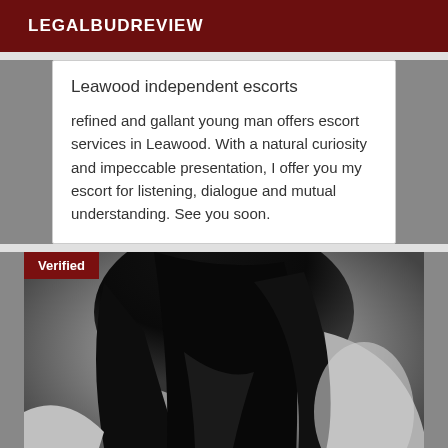LEGALBUDREVIEW
Leawood independent escorts
refined and gallant young man offers escort services in Leawood. With a natural curiosity and impeccable presentation, I offer you my escort for listening, dialogue and mutual understanding. See you soon.
[Figure (photo): Black and white photo of a person with dark hair, back turned to camera, with a verified badge overlay in the top left corner]